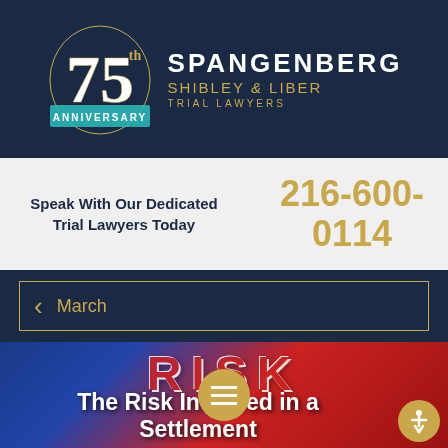[Figure (logo): Spangenberg Shibley & Liber Trial Lawyers logo with 75th Anniversary badge]
Speak With Our Dedicated Trial Lawyers Today
216-600-0114
< March
[Figure (photo): Background image showing the board game RISK with bold red letters. Overlaid text reads: The Risk Involved in a Settlement]
The Risk Involved in a Settlement